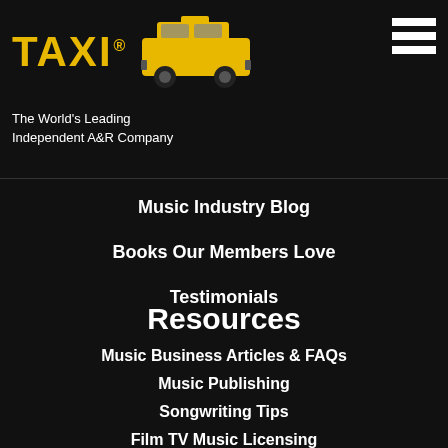[Figure (logo): TAXI logo with yellow text and yellow taxi cab image, with registered trademark symbol]
The World's Leading Independent A&R Company
Music Industry Blog
Books Our Members Love
Testimonials
Resources
Music Business Articles & FAQs
Music Publishing
Songwriting Tips
Film TV Music Licensing
How To Get Record Deals
Home Studio Recording
Useful Music Biz Links